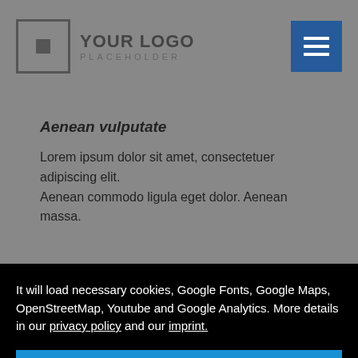YOUR LOGO PLACEHOLDER
Aenean vulputate
Lorem ipsum dolor sit amet, consectetuer adipiscing elit. Aenean commodo ligula eget dolor. Aenean massa.
It will load necessary cookies, Google Fonts, Google Maps, OpenStreetMap, Youtube and Google Analytics. More details in our privacy policy and our imprint.
Accept
I disagree